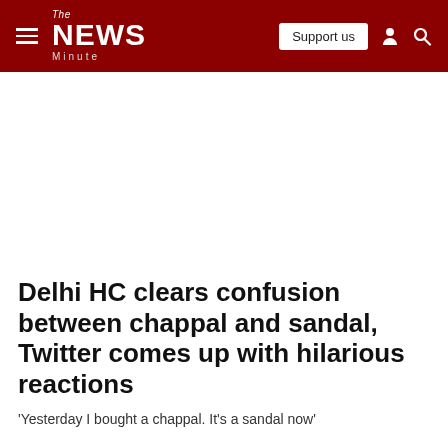The News Minute — Support us
Delhi HC clears confusion between chappal and sandal, Twitter comes up with hilarious reactions
'Yesterday I bought a chappal. It's a sandal now'